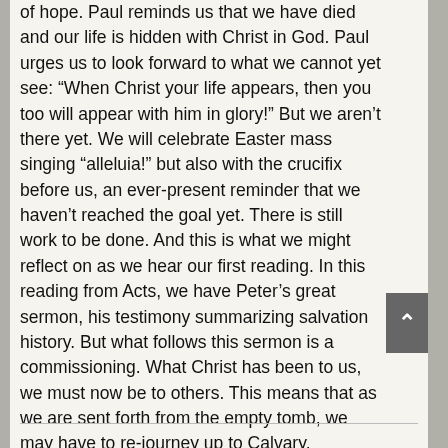of hope. Paul reminds us that we have died and our life is hidden with Christ in God. Paul urges us to look forward to what we cannot yet see: “When Christ your life appears, then you too will appear with him in glory!” But we aren’t there yet. We will celebrate Easter mass singing “alleluia!” but also with the crucifix before us, an ever-present reminder that we haven’t reached the goal yet. There is still work to be done. And this is what we might reflect on as we hear our first reading. In this reading from Acts, we have Peter’s great sermon, his testimony summarizing salvation history. But what follows this sermon is a commissioning. What Christ has been to us, we must now be to others. This means that as we are sent forth from the empty tomb, we may have to re-journey up to Calvary.